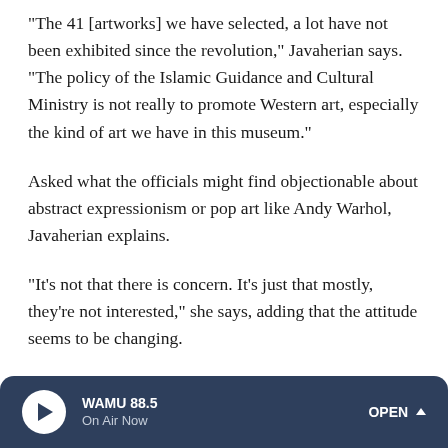"The 41 [artworks] we have selected, a lot have not been exhibited since the revolution," Javaherian says. "The policy of the Islamic Guidance and Cultural Ministry is not really to promote Western art, especially the kind of art we have in this museum."
Asked what the officials might find objectionable about abstract expressionism or pop art like Andy Warhol, Javaherian explains.
"It's not that there is concern. It's just that mostly, they're not interested," she says, adding that the attitude seems to be changing.
WAMU 88.5 On Air Now OPEN